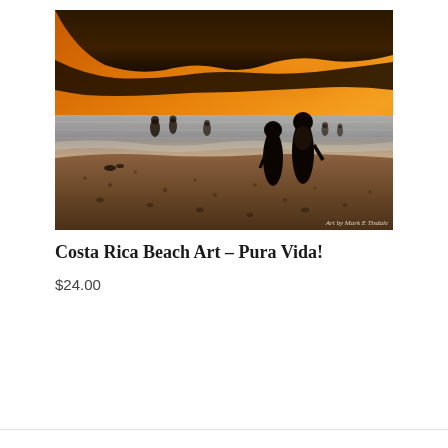[Figure (photo): Sunset beach scene in Costa Rica. Two people silhouetted in foreground standing on a rocky beach, several figures wading in shallow water in the background, dense hillside with orange glowing sunset light in the upper portion. Watermark reads 'Art by Mark E Tisdale'.]
Costa Rica Beach Art – Pura Vida!
$24.00